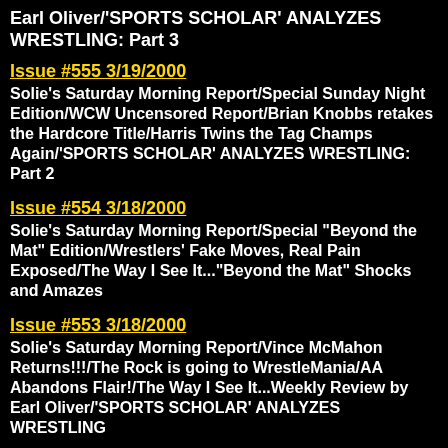Earl Oliver/'SPORTS SCHOLAR' ANALYZES WRESTLING: Part 3
Issue #555 3/19/2000
Solie's Saturday Morning Report/Special Sunday Night Edition/WCW Uncensored Report/Brian Knobbs retakes the Hardcore Title/Harris Twins the Tag Champs Again/'SPORTS SCHOLAR' ANALYZES WRESTLING: Part 2
Issue #554 3/18/2000
Solie's Saturday Morning Report/Special "Beyond the Mat" Edition/Wrestlers' Fake Moves, Real Pain Exposed/The Way I See It..."Beyond the Mat" Shocks and Amazes
Issue #553 3/18/2000
Solie's Saturday Morning Report/Vince McMahon Returns!!!/The Rock is going to WrestleMania/AA Abandons Flair!/The Way I See It...Weekly Review by Earl Oliver/'SPORTS SCHOLAR' ANALYZES WRESTLING